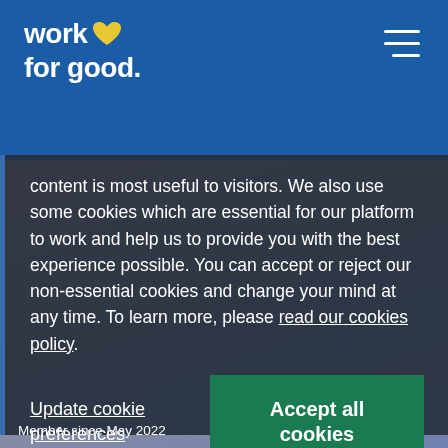[Figure (logo): work for good logo with yellow heart icon on blue background]
content is most useful to visitors. We also use some cookies which are essential for our platform to work and help us to provide you with the best experience possible. You can accept or reject our non-essential cookies and change your mind at any time. To learn more, please read our cookies policy.
Update cookie preferences
Accept all cookies
Member since May 2022